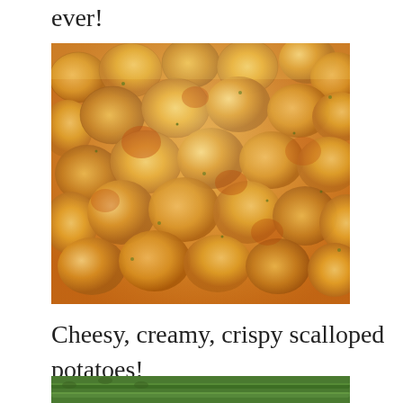ever!
[Figure (photo): Close-up photo of baked scalloped potatoes with golden, crispy cheese crust on top, showing overlapping potato slices covered in browned parmesan or breadcrumb topping with herbs]
Cheesy, creamy, crispy scalloped potatoes!
[Figure (photo): Top portion of a photo showing fresh green asparagus spears arranged on a surface]